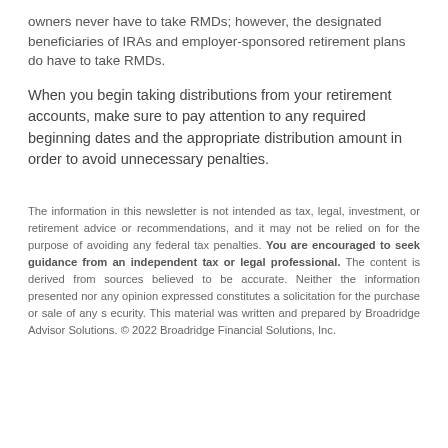owners never have to take RMDs; however, the designated beneficiaries of IRAs and employer-sponsored retirement plans do have to take RMDs.
When you begin taking distributions from your retirement accounts, make sure to pay attention to any required beginning dates and the appropriate distribution amount in order to avoid unnecessary penalties.
The information in this newsletter is not intended as tax, legal, investment, or retirement advice or recommendations, and it may not be relied on for the purpose of avoiding any federal tax penalties. You are encouraged to seek guidance from an independent tax or legal professional. The content is derived from sources believed to be accurate. Neither the information presented nor any opinion expressed constitutes a solicitation for the purchase or sale of any security. This material was written and prepared by Broadridge Advisor Solutions. © 2022 Broadridge Financial Solutions, Inc.